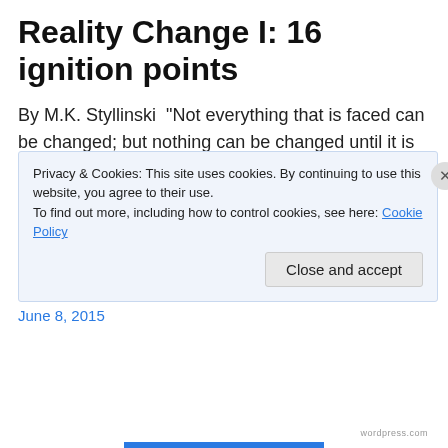Reality Change I: 16 ignition points
By M.K. Styllinski  "Not everything that is faced can be changed; but nothing can be changed until it is faced." - James Baldwin Unless you have been living in a small cave in the mountains for the last few decades (and that may still be an option) you have probably noticed that we … Continue reading →
June 8, 2015
Privacy & Cookies: This site uses cookies. By continuing to use this website, you agree to their use.
To find out more, including how to control cookies, see here: Cookie Policy